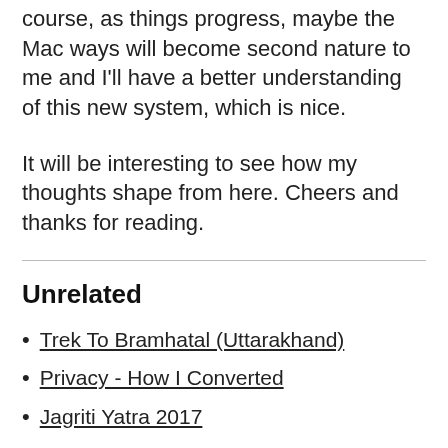course, as things progress, maybe the Mac ways will become second nature to me and I'll have a better understanding of this new system, which is nice.
It will be interesting to see how my thoughts shape from here. Cheers and thanks for reading.
Unrelated
Trek To Bramhatal (Uttarakhand)
Privacy - How I Converted
Jagriti Yatra 2017
Private Cloud Part 2 | Encrypted Storage